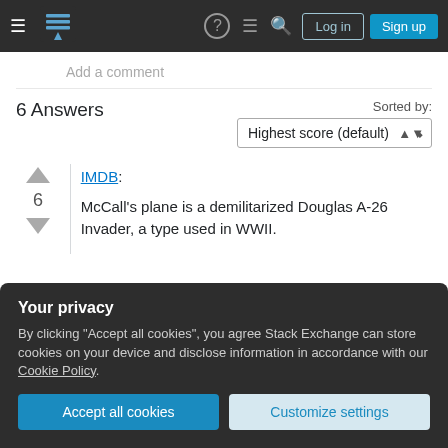Stack Exchange navigation bar with Log in and Sign up buttons
Add a comment
6 Answers
Sorted by: Highest score (default)
IMDB: McCall's plane is a demilitarized Douglas A-26 Invader, a type used in WWII.
Your privacy
By clicking "Accept all cookies", you agree Stack Exchange can store cookies on your device and disclose information in accordance with our Cookie Policy.
Accept all cookies  Customize settings